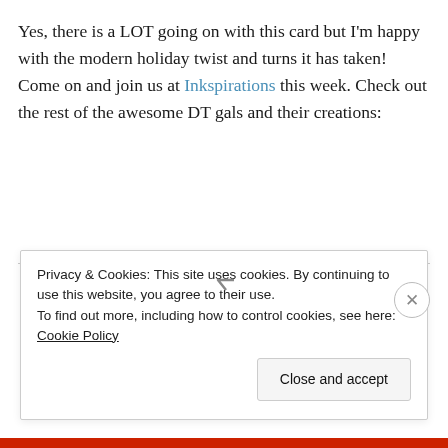Yes, there is a LOT going on with this card but I'm happy with the modern holiday twist and turns it has taken! Come on and join us at Inkspirations this week. Check out the rest of the awesome DT gals and their creations:
Privacy & Cookies: This site uses cookies. By continuing to use this website, you agree to their use.
To find out more, including how to control cookies, see here: Cookie Policy
Close and accept